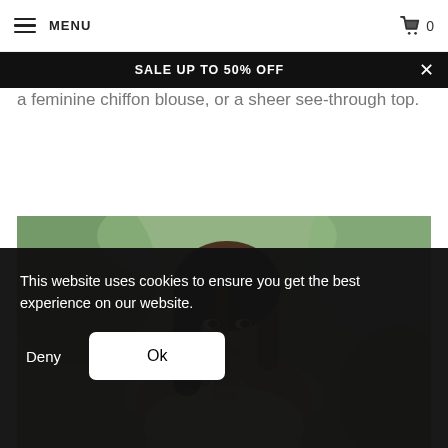MENU  [cart] 0
SALE UP TO 50% OFF
a feminine chiffon blouse, or a sheer see-through top.
[Figure (photo): Young woman with long brown hair, wearing a white spaghetti-strap top, photographed outdoors with a blurred green background.]
This website uses cookies to ensure you get the best experience on our website.
Deny  Ok